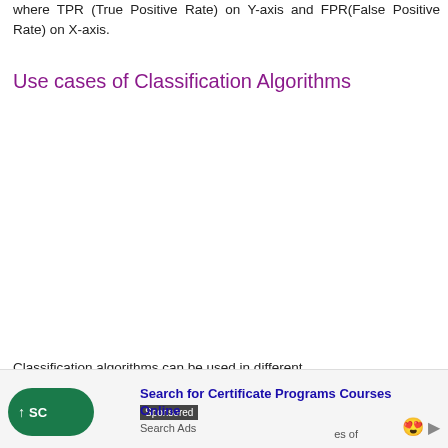where TPR (True Positive Rate) on Y-axis and FPR(False Positive Rate) on X-axis.
Use cases of Classification Algorithms
Classification algorithms can be used in different